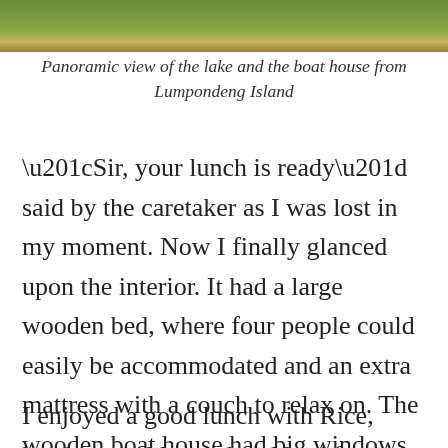[Figure (photo): Panoramic photo strip showing a lake and surrounding greenery/vegetation at the top of the page]
Panoramic view of the lake and the boat house from Lumpondeng Island
“Sir, your lunch is ready” said by the caretaker as I was lost in my moment. Now I finally glanced upon the interior. It had a large wooden bed, where four people could easily be accommodated and an extra mattress with a couch to relax on. The wooden boat house had big windows that allowed fresh air and natural light to keep the interiors charming.
I enjoyed a good lunch with Rice, local vegetables and pickle. After which I started